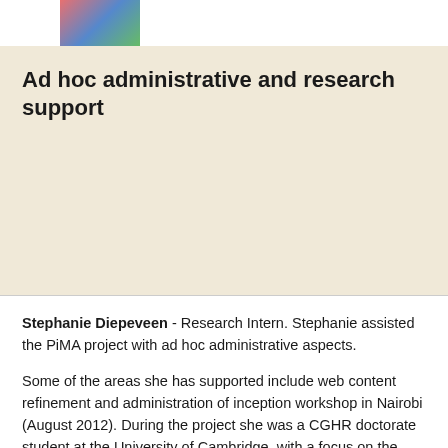[Figure (photo): Partial photo of a person at the top of the page]
Ad hoc administrative and research support
Stephanie Diepeveen - Research Intern. Stephanie assisted the PiMA project with ad hoc administrative aspects.
Some of the areas she has supported include web content refinement and administration of inception workshop in Nairobi (August 2012). During the project she was a CGHR doctorate student at the University of Cambridge, with a focus on the constitution of citizen-state relations through the use